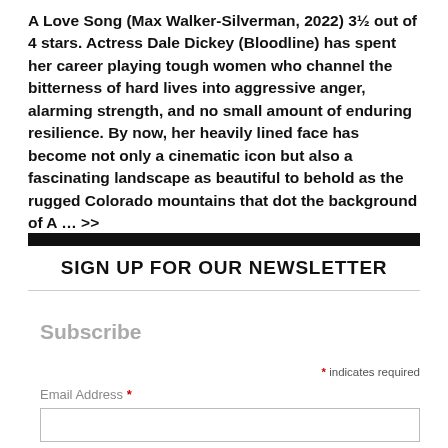A Love Song (Max Walker-Silverman, 2022) 3½ out of 4 stars. Actress Dale Dickey (Bloodline) has spent her career playing tough women who channel the bitterness of hard lives into aggressive anger, alarming strength, and no small amount of enduring resilience. By now, her heavily lined face has become not only a cinematic icon but also a fascinating landscape as beautiful to behold as the rugged Colorado mountains that dot the background of A … >>
SIGN UP FOR OUR NEWSLETTER
Subscribe
* indicates required
Email Address *